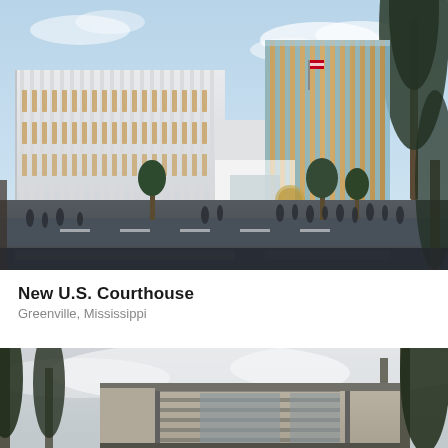[Figure (illustration): Architectural rendering of the New U.S. Courthouse in Greenville, Mississippi. Shows a modern multi-story building with white vertical fin cladding on the left wing and a glass curtain wall with wooden interior visible on the right tower. People are shown in the foreground plaza area. American flag is visible on the building. Trees frame the scene.]
New U.S. Courthouse
Greenville, Mississippi
[Figure (photo): Partial exterior photograph of a modern building with horizontal louvers/brise-soleil and brick cladding, framed by tall pine trees against an overcast sky. Lower portion of the image is cropped.]